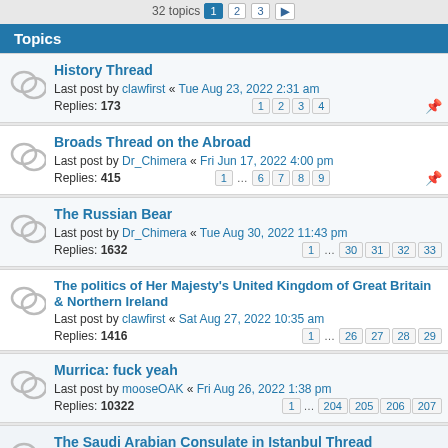32 topics  1  2  3  ▶
Topics
History Thread
Last post by clawfirst « Tue Aug 23, 2022 2:31 am
Replies: 173
Pages: 1 2 3 4
Broads Thread on the Abroad
Last post by Dr_Chimera « Fri Jun 17, 2022 4:00 pm
Replies: 415
Pages: 1 ... 6 7 8 9
The Russian Bear
Last post by Dr_Chimera « Tue Aug 30, 2022 11:43 pm
Replies: 1632
Pages: 1 ... 30 31 32 33
The politics of Her Majesty's United Kingdom of Great Britain & Northern Ireland
Last post by clawfirst « Sat Aug 27, 2022 10:35 am
Replies: 1416
Pages: 1 ... 26 27 28 29
Murrica: fuck yeah
Last post by mooseOAK « Fri Aug 26, 2022 1:38 pm
Replies: 10322
Pages: 1 ... 204 205 206 207
The Saudi Arabian Consulate in Istanbul Thread